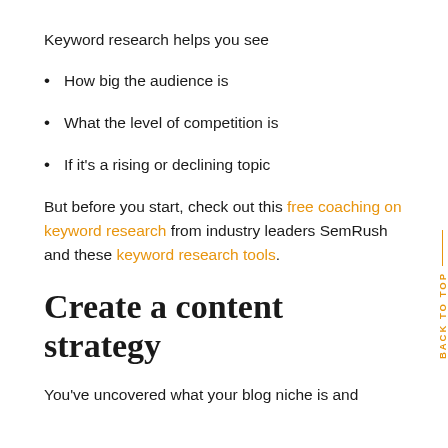Keyword research helps you see
How big the audience is
What the level of competition is
If it's a rising or declining topic
But before you start, check out this free coaching on keyword research from industry leaders SemRush and these keyword research tools.
Create a content strategy
You've uncovered what your blog niche is and